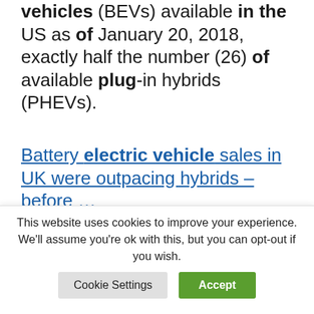vehicles (BEVs) available in the US as of January 20, 2018, exactly half the number (26) of available plug-in hybrids (PHEVs).
Battery electric vehicle sales in UK were outpacing hybrids – before …
18 May 2020 … Electric vehicle (EV) sales figures for the U.K. indicate consumers … Personal car leasing price comparison site LeaseFetcher
This website uses cookies to improve your experience. We'll assume you're ok with this, but you can opt-out if you wish.